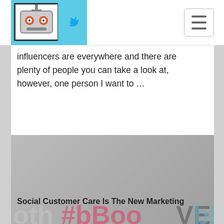[Figure (screenshot): Website header/nav bar with robot logo and Twitter bird icon on cyan background, plus hamburger menu button on right]
influencers are everywhere and there are plenty of people you can take a look at, however, one person I want to …
[Figure (photo): Young man wearing a backwards cap and black jacket, standing in front of a photo booth backdrop with #bBooth text]
Social Customer Care Is The New Marketing